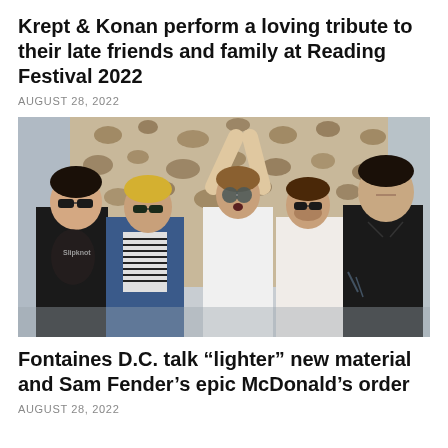Krept & Konan perform a loving tribute to their late friends and family at Reading Festival 2022
AUGUST 28, 2022
[Figure (photo): Five young men posing in front of a leopard-print fabric backdrop against a grey wall. They wear casual clothes including band t-shirts and sunglasses. One raises his arms above his head.]
Fontaines D.C. talk “lighter” new material and Sam Fender’s epic McDonald’s order
AUGUST 28, 2022